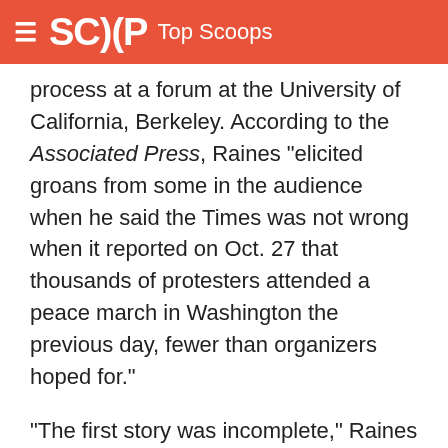SCOOP Top Scoops
process at a forum at the University of California, Berkeley. According to the Associated Press, Raines "elicited groans from some in the audience when he said the Times was not wrong when it reported on Oct. 27 that thousands of protesters attended a peace march in Washington the previous day, fewer than organizers hoped for."
"The first story was incomplete," Raines said, according to the Associated Press. "The number was a judgment matter ... a matter of scope." He added, "In this business there's only one thing to do when you're wrong and that's 'get it right' as soon as you can."